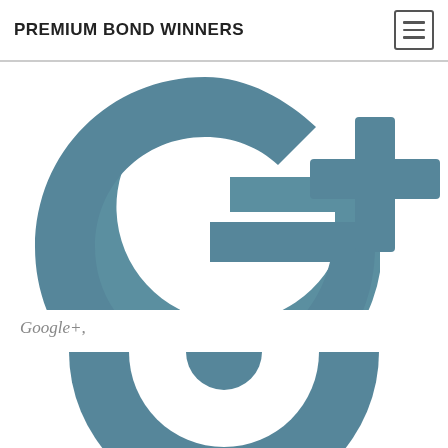PREMIUM BOND WINNERS
[Figure (logo): Google+ logo in muted teal/steel blue color — large letter G with internal horizontal bar forming the plus, accompanied by a + cross symbol to the right]
Google+,
[Figure (logo): Partial Google logo (circular G shape) in muted teal/steel blue, cropped at bottom of page]